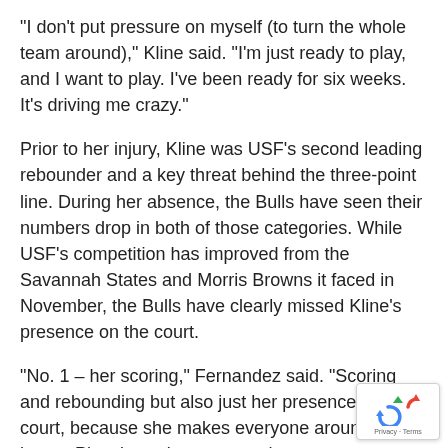“I don’t put pressure on myself (to turn the whole team around),” Kline said. “I’m just ready to play, and I want to play. I’ve been ready for six weeks. It’s driving me crazy.”
Prior to her injury, Kline was USF’s second leading rebounder and a key threat behind the three-point line. During her absence, the Bulls have seen their numbers drop in both of those categories. While USF’s competition has improved from the Savannah States and Morris Browns it faced in November, the Bulls have clearly missed Kline’s presence on the court.
“No. 1 – her scoring,” Fernandez said. “Scoring and rebounding but also just her presence on the court, because she makes everyone around her better. Plus, it won’t put so much pressure on Sonia